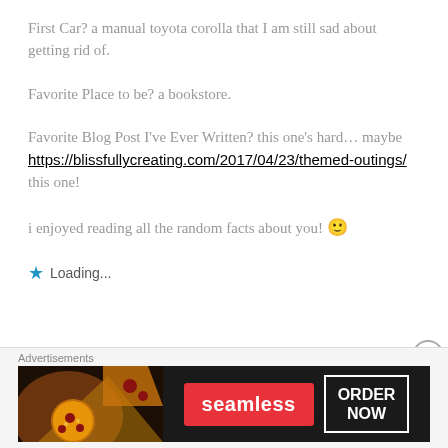First Car? a manual toyota corolla that I am still sad about getting rid of.
Favorite Place to be? a bookstore.
Favorite Blog Post I've Ever Written? this one's hard… maybe https://blissfullycreating.com/2017/04/23/themed-outings/ this one!
i enjoyed reading all the random facts about you! 🙂
★ Loading...
[Figure (infographic): Seamless food delivery advertisement banner with pizza image on left, red Seamless logo button in center, and ORDER NOW button on right with dark background.]